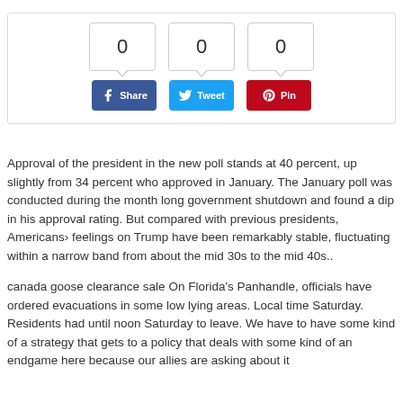[Figure (infographic): Social share widget with count boxes showing 0, 0, 0 and three buttons: Facebook Share, Twitter Tweet, Pinterest Pin]
Approval of the president in the new poll stands at 40 percent, up slightly from 34 percent who approved in January. The January poll was conducted during the month long government shutdown and found a dip in his approval rating. But compared with previous presidents, Americans› feelings on Trump have been remarkably stable, fluctuating within a narrow band from about the mid 30s to the mid 40s..
canada goose clearance sale On Florida's Panhandle, officials have ordered evacuations in some low lying areas. Local time Saturday. Residents had until noon Saturday to leave. We have to have some kind of a strategy that gets to a policy that deals with some kind of an endgame here because our allies are asking about it